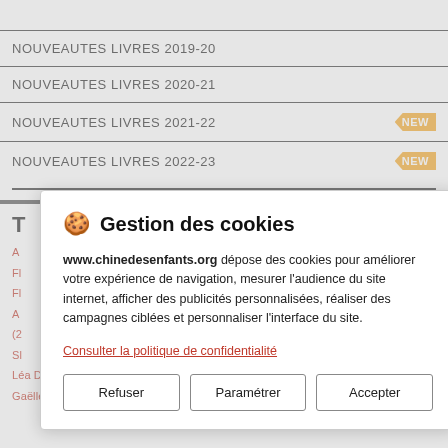NOUVEAUTES LIVRES 2019-20
NOUVEAUTES LIVRES 2020-21
NOUVEAUTES LIVRES 2021-22 NEW
NOUVEAUTES LIVRES 2022-23 NEW
Gestion des cookies — www.chinedesenfants.org dépose des cookies pour améliorer votre expérience de navigation, mesurer l'audience du site internet, afficher des publicités personnalisées, réaliser des campagnes ciblées et personnaliser l'interface du site. Consulter la politique de confidentialité. Refuser | Paramétrer | Accepter
Léa DESPLÉCHIN, Marie DOLE, Antoine DOULOT, Fabien DUHAZE, Gaëlle EDGAR, Silène ENKUTUR, Senel Erdane, EEL édition...